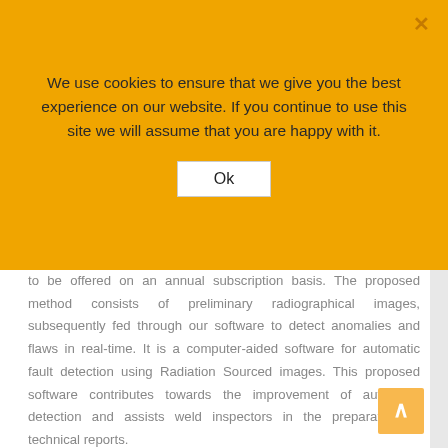We use cookies to ensure that we give you the best experience on our website. If you continue to use this site we will assume that you are happy with it.
to be offered on an annual subscription basis. The proposed method consists of preliminary radiographical images, subsequently fed through our software to detect anomalies and flaws in real-time. It is a computer-aided software for automatic fault detection using Radiation Sourced images. This proposed software contributes towards the improvement of automatic detection and assists weld inspectors in the preparation of technical reports.